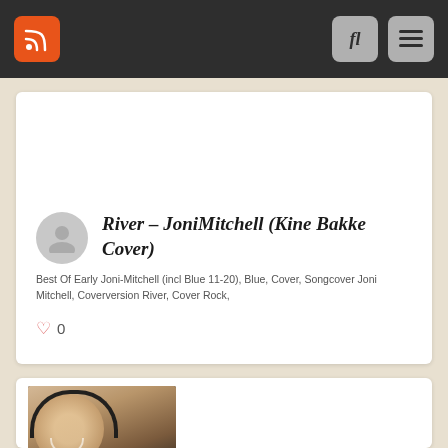RSS feed | Search | Menu
River – JoniMitchell (Kine Bakke Cover)
Best Of Early Joni-Mitchell (incl Blue 11-20), Blue, Cover, Songcover Joni Mitchell, Coverversion River, Cover Rock,
0
[Figure (photo): Thumbnail of a woman wearing headphones, smiling, with overlay text 'Both Sides Now']